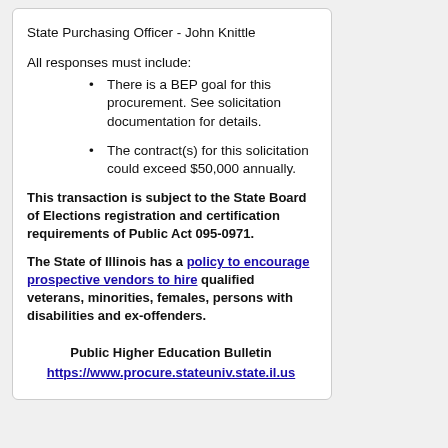State Purchasing Officer - John Knittle
All responses must include:
There is a BEP goal for this procurement. See solicitation documentation for details.
The contract(s) for this solicitation could exceed $50,000 annually.
This transaction is subject to the State Board of Elections registration and certification requirements of Public Act 095-0971.
The State of Illinois has a policy to encourage prospective vendors to hire qualified veterans, minorities, females, persons with disabilities and ex-offenders.
Public Higher Education Bulletin
https://www.procure.stateuniv.state.il.us